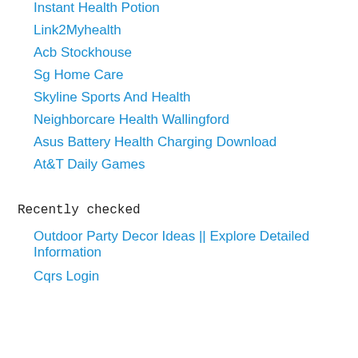Instant Health Potion
Link2Myhealth
Acb Stockhouse
Sg Home Care
Skyline Sports And Health
Neighborcare Health Wallingford
Asus Battery Health Charging Download
At&T Daily Games
Recently checked
Outdoor Party Decor Ideas || Explore Detailed Information
Cqrs Login